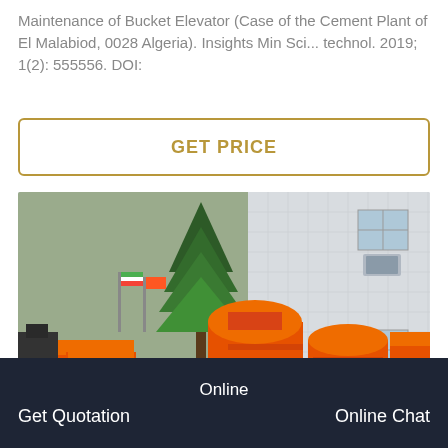Maintenance of Bucket Elevator (Case of the Cement Plant of El Malabiod, 0028 Algeria). Insights Min Sci... technol. 2019; 1(2): 555556. DOI:
[Figure (other): Button: GET PRICE with gold border]
[Figure (photo): Industrial orange bucket elevator/crusher machines outdoors with a large evergreen tree and factory building in background]
Online   Get Quotation   Online Chat